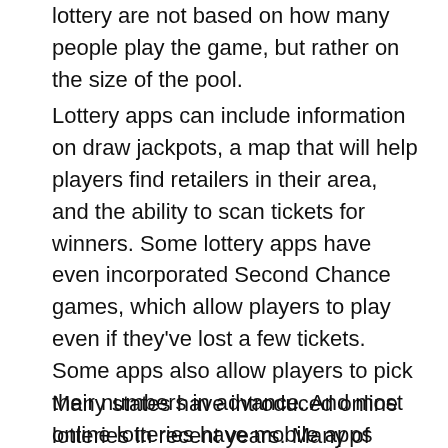lottery are not based on how many people play the game, but rather on the size of the pool.
Lottery apps can include information on draw jackpots, a map that will help players find retailers in their area, and the ability to scan tickets for winners. Some lottery apps have even incorporated Second Chance games, which allow players to play even if they've lost a few tickets. Some apps also allow players to pick their numbers in advance. And most online lotteries have mobile apps now. These apps generally work on both iOS and Android devices, with links from the lottery's website.
Many states have introduced online lotteries in recent years. Many of these states have gone